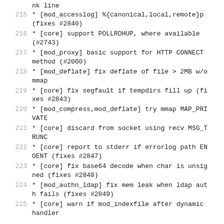nk line
215     * [mod_accesslog] %{canonical,local,remote}p (fixes #2840)
216     * [core] support POLLRDHUP, where available (#2743)
217     * [mod_proxy] basic support for HTTP CONNECT method (#2060)
218     * [mod_deflate] fix deflate of file > 2MB w/o mmap
219     * [core] fix segfault if tempdirs fill up (fixes #2843)
220     * [mod_compress,mod_deflate] try mmap MAP_PRIVATE
221     * [core] discard from socket using recv MSG_TRUNC
222     * [core] report to stderr if errorlog path ENOENT (fixes #2847)
223     * [core] fix base64 decode when char is unsigned (fixes #2848)
224     * [mod_authn_ldap] fix mem leak when ldap auth fails (fixes #2849)
225     * [core] warn if mod_indexfile after dynamic handler